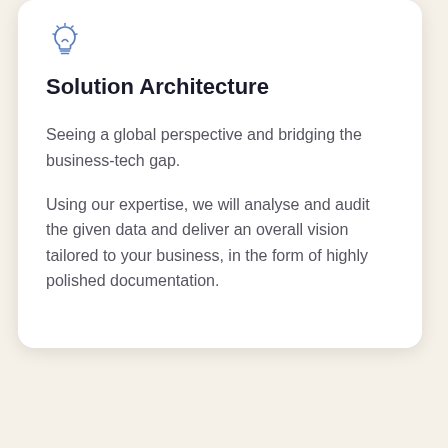[Figure (illustration): Light bulb icon in blue outline style]
Solution Architecture
Seeing a global perspective and bridging the business-tech gap.
Using our expertise, we will analyse and audit the given data and deliver an overall vision tailored to your business, in the form of highly polished documentation.